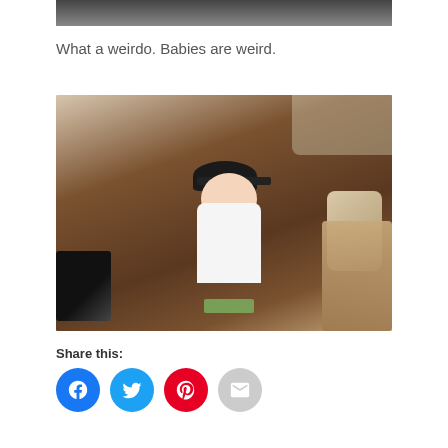[Figure (photo): Top cropped portion of a photo, partially visible at top of page]
What a weirdo. Babies are weird.
[Figure (photo): Baby sitting on a brown sofa wearing a black baseball cap and white onesie, holding money, with books and pillows nearby]
Share this:
[Figure (other): Social share buttons: Facebook (blue), Twitter (blue), Pinterest (red), Email (gray)]